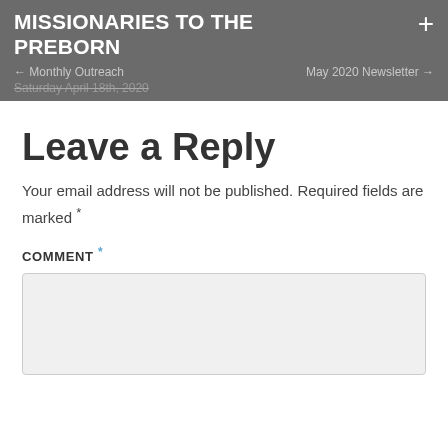MISSIONARIES TO THE PREBORN
← Monthly Outreach    May 2020 Newsletter →
Saturday April 18th, 2020
Leave a Reply
Your email address will not be published. Required fields are marked *
COMMENT *